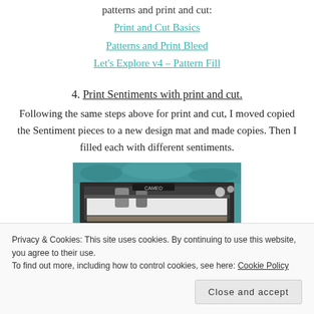patterns and print and cut:
Print and Cut Basics
Patterns and Print Bleed
Let's Explore v4 – Pattern Fill
4. Print Sentiments with print and cut.
Following the same steps above for print and cut, I moved copied the Sentiment pieces to a new design mat and made copies. Then I filled each with different sentiments.
[Figure (photo): Photo of a Cameo cutting machine with teal patterned cover, viewed from above/front, showing the cutting mechanism inside.]
Privacy & Cookies: This site uses cookies. By continuing to use this website, you agree to their use. To find out more, including how to control cookies, see here: Cookie Policy
Close and accept